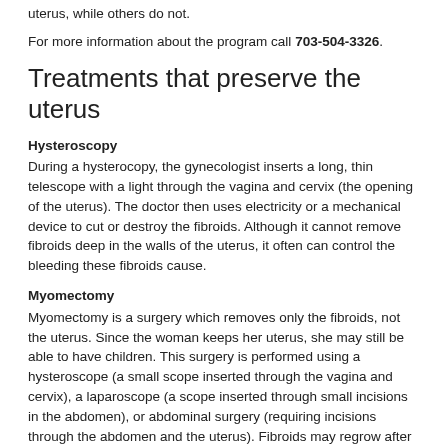uterus, while others do not.
For more information about the program call 703-504-3326.
Treatments that preserve the uterus
Hysteroscopy
During a hysterocopy, the gynecologist inserts a long, thin telescope with a light through the vagina and cervix (the opening of the uterus). The doctor then uses electricity or a mechanical device to cut or destroy the fibroids. Although it cannot remove fibroids deep in the walls of the uterus, it often can control the bleeding these fibroids cause.
Myomectomy
Myomectomy is a surgery which removes only the fibroids, not the uterus. Since the woman keeps her uterus, she may still be able to have children. This surgery is performed using a hysteroscope (a small scope inserted through the vagina and cervix), a laparoscope (a scope inserted through small incisions in the abdomen), or abdominal surgery (requiring incisions through the abdomen and the uterus). Fibroids may regrow after